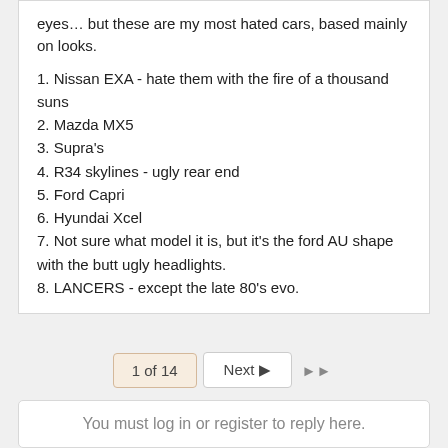eyes... but these are my most hated cars, based mainly on looks.
1. Nissan EXA - hate them with the fire of a thousand suns
2. Mazda MX5
3. Supra's
4. R34 skylines - ugly rear end
5. Ford Capri
6. Hyundai Xcel
7. Not sure what model it is, but it's the ford AU shape with the butt ugly headlights.
8. LANCERS - except the late 80's evo.
1 of 14  Next ▶  ▶▶
You must log in or register to reply here.